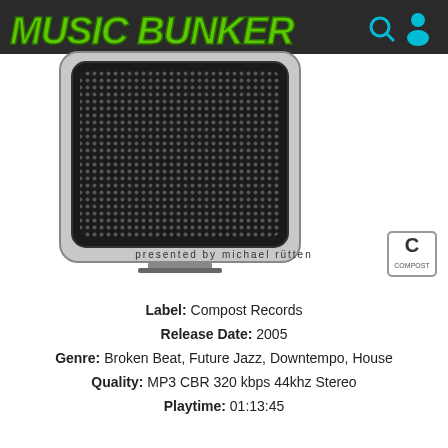[Figure (logo): Music Bunker graffiti-style logo in green on dark banner, with a silver speaker/amplifier image and 'presented by michael rütten' text beneath]
Label: Compost Records
Release Date: 2005
Genre: Broken Beat, Future Jazz, Downtempo, House
Quality: MP3 CBR 320 kbps 44khz Stereo
Playtime: 01:13:45